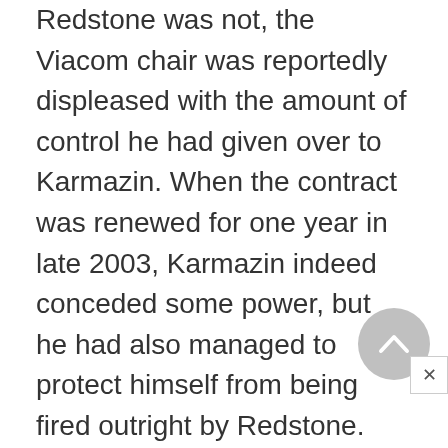Redstone was not, the Viacom chair was reportedly displeased with the amount of control he had given over to Karmazin. When the contract was renewed for one year in late 2003, Karmazin indeed conceded some power, but he had also managed to protect himself from being fired outright by Redstone.

On the first day of June in 2004, Karmazin announced he was resigning for personal and